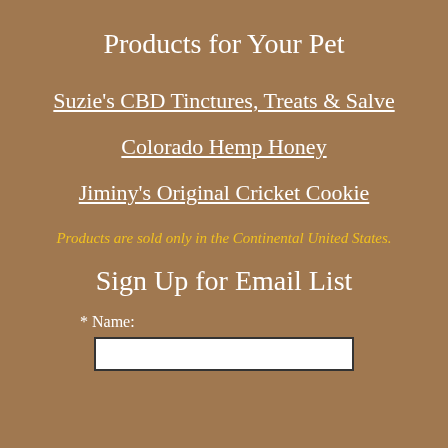Products for Your Pet
Suzie's CBD Tinctures, Treats & Salve
Colorado Hemp Honey
Jiminy's Original Cricket Cookie
Products are sold only in the Continental United States.
Sign Up for Email List
* Name: